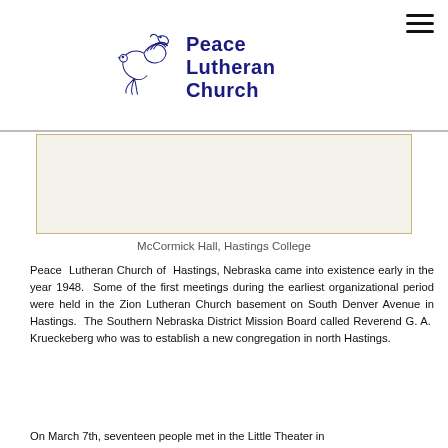[Figure (logo): Peace Lutheran Church logo with dove illustration and church name in dark blue]
[Figure (photo): McCormick Hall, Hastings College — rectangular image placeholder with tan/beige border]
McCormick Hall, Hastings College
Peace Lutheran Church of Hastings, Nebraska came into existence early in the year 1948. Some of the first meetings during the earliest organizational period were held in the Zion Lutheran Church basement on South Denver Avenue in Hastings. The Southern Nebraska District Mission Board called Reverend G. A. Krueckeberg who was to establish a new congregation in north Hastings.
On March 7th, seventeen people met in the Little Theater in